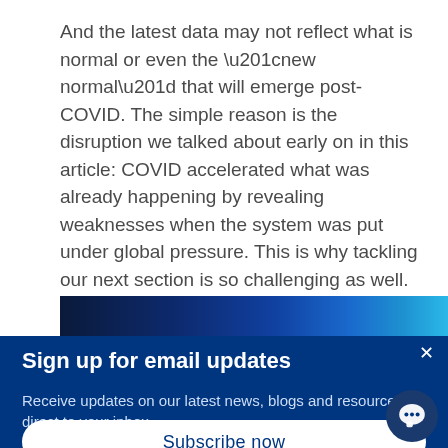And the latest data may not reflect what is normal or even the “new normal” that will emerge post-COVID. The simple reason is the disruption we talked about early on in this article: COVID accelerated what was already happening by revealing weaknesses when the system was put under global pressure. This is why tackling our next section is so challenging as well.
[Figure (photo): A dark blue banner image strip, partially visible, showing a financial or data chart in shades of blue.]
Sign up for email updates
Receive updates on our latest news, blogs and resources direct to your inbox
Subscribe now